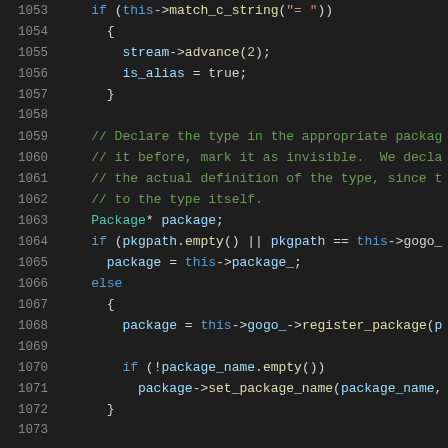[Figure (screenshot): Source code editor showing C++ code lines 1053–1073 with syntax highlighting on dark background. Code shows an if block checking match_c_string, then declaring a type in a package, with conditional package registration logic.]